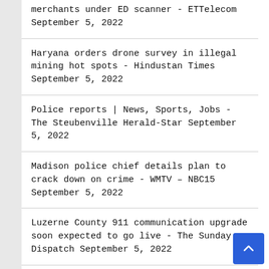merchants under ED scanner - ETTelecom September 5, 2022
Haryana orders drone survey in illegal mining hot spots - Hindustan Times September 5, 2022
Police reports | News, Sports, Jobs - The Steubenville Herald-Star September 5, 2022
Madison police chief details plan to crack down on crime - WMTV – NBC15 September 5, 2022
Luzerne County 911 communication upgrade soon expected to go live - The Sunday Dispatch September 5, 2022